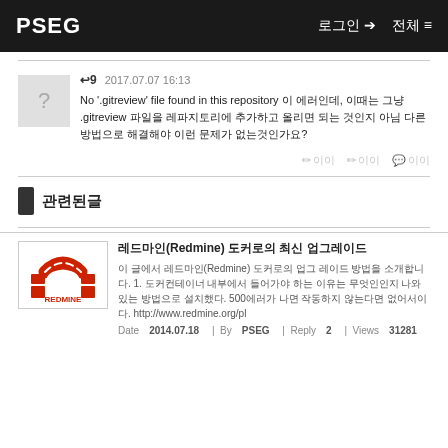PSEG  로그인 ➔  전체 ≡
↩9   2017.07.07 16:13
No '.gitreview' file found in this repository 이 에러인데, 이때는 그냥 .gitreview 파일을 레파지토리에 추가하고 올리면 되는 것인지 아님 다른 방법으로 해결해야 이런 문제가 없는것인가요?
관련된글
레드마인(Redmine) 도커로의 최신 업그레이드
이 글에서는 레드마인(Redmine) 도커로의 업그 레이드 방법을 소개합니다. 1. 도커컨테이너 내부에서 들어가야 하는 이유는 무엇인인지 나와 있는 방법으로 설치했다.  500에러가 나면 작동하지 않는다면 없어서이다. http://www.redmine.org/pl
Date 2014.07.18  |  By PSEG  |  Reply 2  |  Views 31281